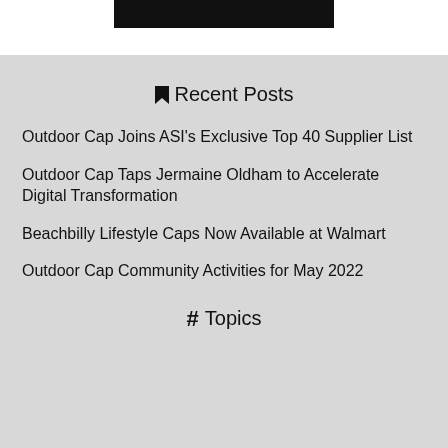Recent Posts
Outdoor Cap Joins ASI's Exclusive Top 40 Supplier List
Outdoor Cap Taps Jermaine Oldham to Accelerate Digital Transformation
Beachbilly Lifestyle Caps Now Available at Walmart
Outdoor Cap Community Activities for May 2022
Topics